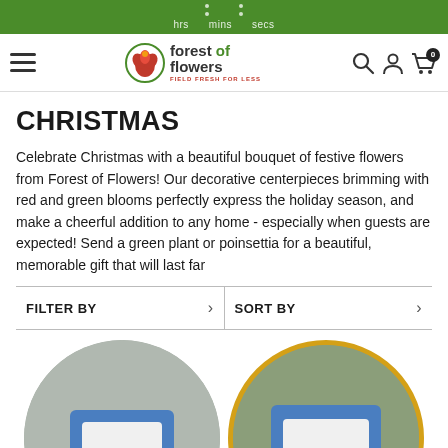hrs  mins  secs
[Figure (logo): Forest of Flowers logo with hamburger menu, search, user, and cart icons]
CHRISTMAS
Celebrate Christmas with a beautiful bouquet of festive flowers from Forest of Flowers! Our decorative centerpieces brimming with red and green blooms perfectly express the holiday season, and make a cheerful addition to any home - especially when guests are expected! Send a green plant or poinsettia for a beautiful, memorable gift that will last far
FILTER BY
SORT BY
[Figure (photo): Circular product image showing Forest of Flowers employee in apron holding Christmas flowers arrangement]
[Figure (photo): Circular product image with gold border showing Forest of Flowers employee in apron holding red roses and pine cones holiday arrangement]